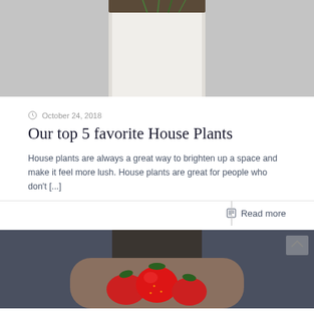[Figure (photo): Top portion of a photo showing a white cylindrical plant pot with soil and small plants, on a light gray background — partially cropped at top]
October 24, 2018
Our top 5 favorite House Plants
House plants are always a great way to brighten up a space and make it feel more lush. House plants are great for people who don't [...]
Read more
[Figure (photo): Bottom portion of page showing a photo of red strawberries being held by hands, partially visible — cropped at bottom]